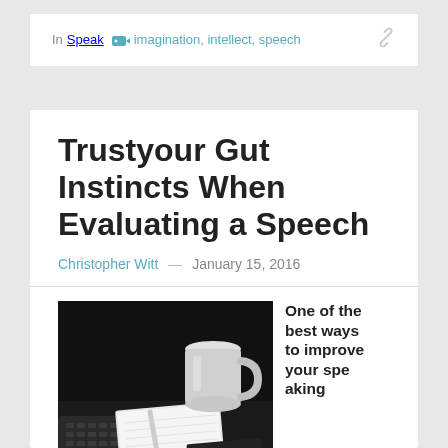In Speak  imagination, intellect, speech
Trustyour Gut Instincts When Evaluating a Speech
Christopher Witt — January 15, 2016
[Figure (photo): Black and white photo of a laptop keyboard, notebook with pen, and a white coffee mug on a dark background]
One of the best ways to improve your spe aking